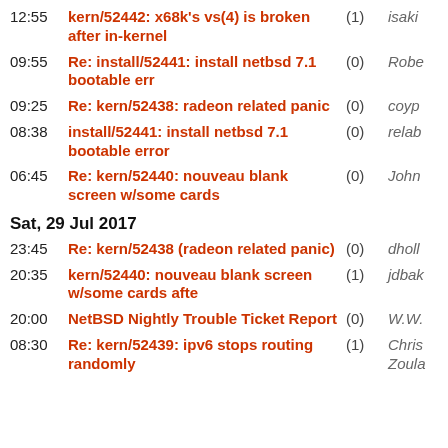12:55  kern/52442: x68k's vs(4) is broken after in-kernel  (1)  isaki
09:55  Re: install/52441: install netbsd 7.1 bootable err  (0)  Robe
09:25  Re: kern/52438: radeon related panic  (0)  coyp
08:38  install/52441: install netbsd 7.1 bootable error  (0)  relab
06:45  Re: kern/52440: nouveau blank screen w/some cards  (0)  John
Sat, 29 Jul 2017
23:45  Re: kern/52438 (radeon related panic)  (0)  dholl
20:35  kern/52440: nouveau blank screen w/some cards afte  (1)  jdbak
20:00  NetBSD Nightly Trouble Ticket Report  (0)  W.W.
08:30  Re: kern/52439: ipv6 stops routing randomly  (1)  Chris Zoula